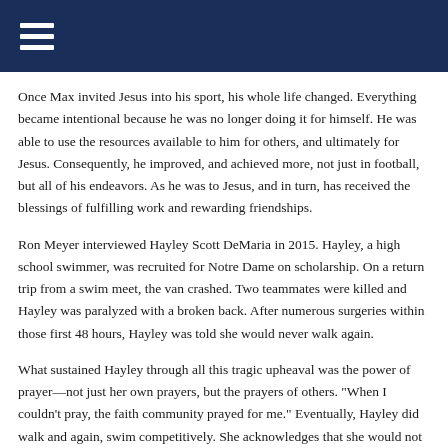Once Max invited Jesus into his sport, his whole life changed. Everything became intentional because he was no longer doing it for himself. He was able to use the resources available to him for others, and ultimately for Jesus. Consequently, he improved, and achieved more, not just in football, but all of his endeavors. As he was to Jesus, and in turn, has received the blessings of fulfilling work and rewarding friendships.
Ron Meyer interviewed Hayley Scott DeMaria in 2015. Hayley, a high school swimmer, was recruited for Notre Dame on scholarship. On a return trip from a swim meet, the van crashed. Two teammates were killed and Hayley was paralyzed with a broken back. After numerous surgeries within those first 48 hours, Hayley was told she would never walk again.
What sustained Hayley through all this tragic upheaval was the power of prayer—not just her own prayers, but the prayers of others. "When I couldn't pray, the faith community prayed for me." Eventually, Hayley did walk and again, swim competitively. She acknowledges that she would not wish pain and suffering such as her own experiences on anyone, but...